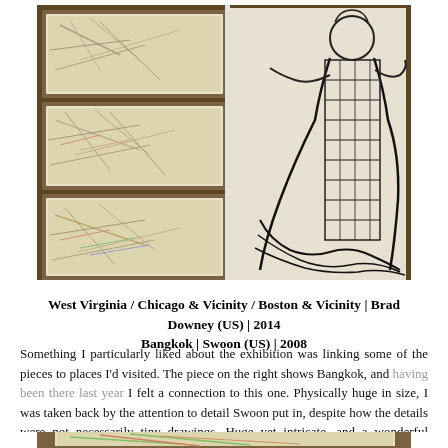[Figure (photo): Two-panel photo: left panel shows three framed map artworks (West Virginia, Chicago & Vicinity, Boston & Vicinity) hung vertically on a brown wall; right panel shows a large detailed black ink drawing of Bangkok by Swoon on a light wall]
West Virginia / Chicago & Vicinity / Boston & Vicinity | Brad Downey (US) | 2014
Bangkok | Swoon (US) | 2008
Something I particularly liked about the exhibition was linking some of the pieces to places I'd visited. The piece on the right shows Bangkok, and having been there last year I felt a connection to this one. Physically huge in size, I was taken back by the attention to detail Swoon put in, despite how the details were not necessarily tiny drawings. Huge yet intricate, and a wonderful equilibrium of these two elements.
[Figure (photo): Bottom partial photo showing a close-up of a framed map artwork with leaf/floral drawings on it, partially visible]